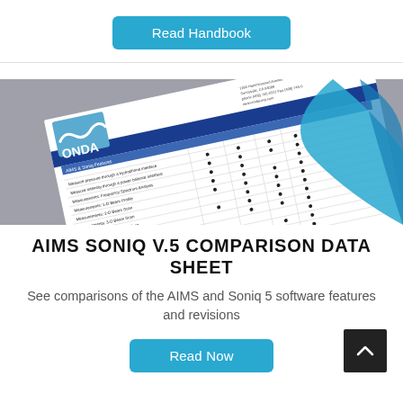Read Handbook
[Figure (photo): A photograph of an Onda corporation AIMS Soniq comparison data sheet document, showing the Onda logo with 'Putting Confidence in Ultrasound' tagline, a table with software feature comparisons, placed on a gray surface with a blue design element.]
AIMS SONIQ V.5 COMPARISON DATA SHEET
See comparisons of the AIMS and Soniq 5 software features and revisions
Read Now